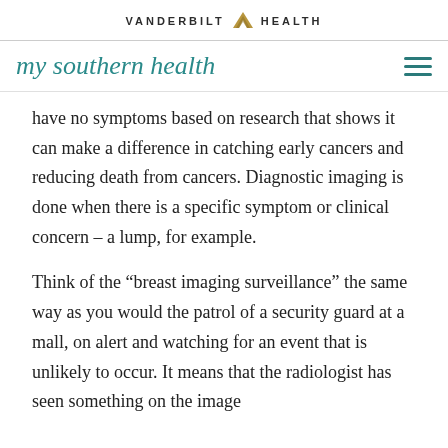VANDERBILT HEALTH
my southern health
have no symptoms based on research that shows it can make a difference in catching early cancers and reducing death from cancers. Diagnostic imaging is done when there is a specific symptom or clinical concern – a lump, for example.
Think of the “breast imaging surveillance” the same way as you would the patrol of a security guard at a mall, on alert and watching for an event that is unlikely to occur. It means that the radiologist has seen something on the image